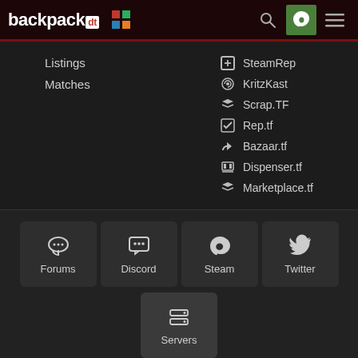backpack dt — navigation header with logo, grid icon, search, steam, and menu icons
Listings
Matches
SteamRep
KritzKast
Scrap.TF
Rep.tf
Bazaar.tf
Dispenser.tf
Marketplace.tf
[Figure (infographic): Four social/community buttons: Forums, Discord, Steam, Twitter, and a Servers button below]
backpack.tf © 2012-2022 · ScrapTF, LLC · Powered by Steam · privacy policy